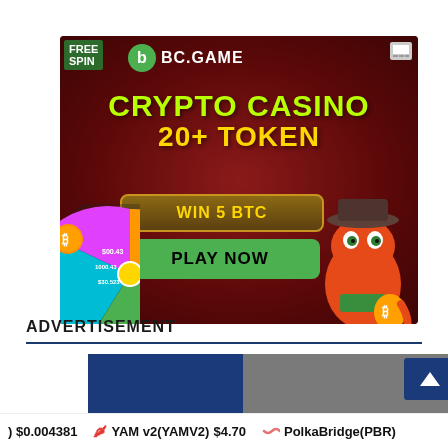[Figure (illustration): BC.GAME crypto casino advertisement banner. Dark red background with cave-like texture. Features: FREE SPIN label top-left, BC.GAME logo with green 'b' icon, text 'CRYPTO CASINO' in yellow-green, '20+ TOKEN' in yellow, 'WIN 5 BTC' button in brown/gold, 'PLAY NOW' button in green, a spin wheel with colored cards on left side, and an orange cartoon gecko/dinosaur character wearing a cowboy hat and holding a bitcoin bag on right side.]
ADVERTISEMENT
[Figure (screenshot): Partially visible second advertisement banner showing blue and gray sections, partially cropped at bottom of page.]
) $0.004381  YAM v2(YAMV2) $4.70  PolkaBridge(PBR)